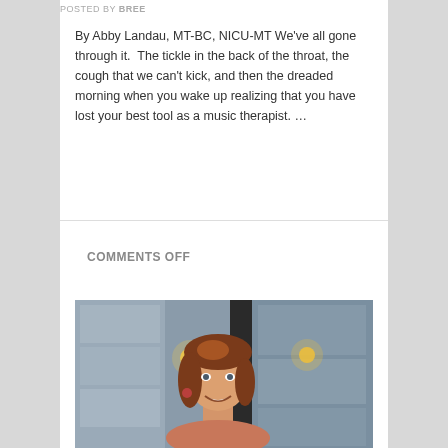POSTED BY BREE
By Abby Landau, MT-BC, NICU-MT We've all gone through it.  The tickle in the back of the throat, the cough that we can't kick, and then the dreaded morning when you wake up realizing that you have lost your best tool as a music therapist. …
Continue reading →
NOV 15 2017   COMMENTS OFF
[Figure (photo): Portrait photo of a young woman with reddish-brown hair, smiling, standing in front of a building with glass panels and warm lighting in background.]